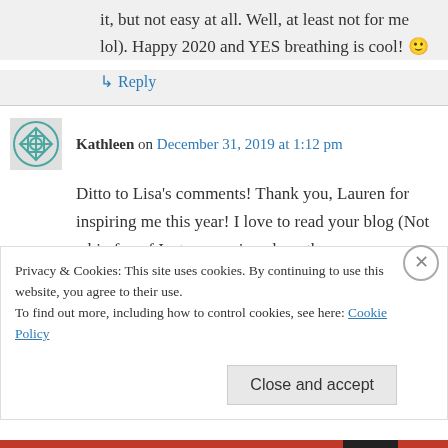it, but not easy at all. Well, at least not for me lol). Happy 2020 and YES breathing is cool! 🙂
↳ Reply
Kathleen on December 31, 2019 at 1:12 pm
Ditto to Lisa's comments! Thank you, Lauren for inspiring me this year! I love to read your blog (Not a big fan of Instagram given how they
Privacy & Cookies: This site uses cookies. By continuing to use this website, you agree to their use.
To find out more, including how to control cookies, see here: Cookie Policy
Close and accept